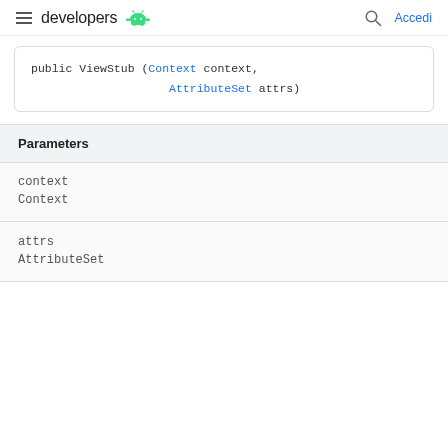developers  Accedi
public ViewStub (Context context,
                AttributeSet attrs)
| Parameters |
| --- |
| context |  |
| Context |  |
| attrs |  |
| AttributeSet |  |